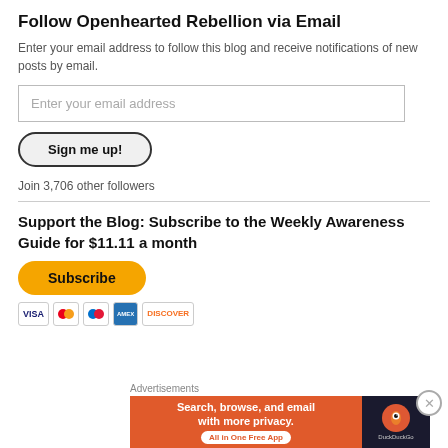Follow Openhearted Rebellion via Email
Enter your email address to follow this blog and receive notifications of new posts by email.
Enter your email address
Sign me up!
Join 3,706 other followers
Support the Blog: Subscribe to the Weekly Awareness Guide for $11.11 a month
[Figure (other): PayPal Subscribe button with payment method icons (Visa, Mastercard, Amex, Discover)]
[Figure (other): DuckDuckGo advertisement banner: Search, browse, and email with more privacy. All in One Free App]